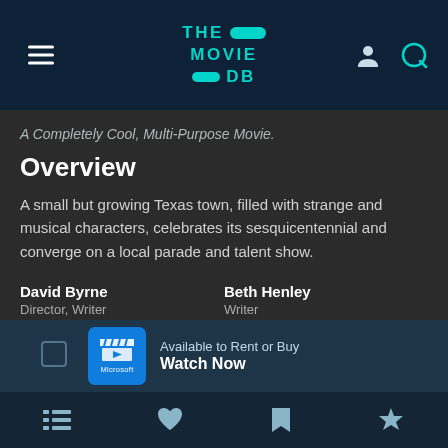THE MOVIE DB
A Completely Cool, Multi-Purpose Movie.
Overview
A small but growing Texas town, filled with strange and musical characters, celebrates its sesquicentennial and converge on a local parade and talent show.
David Byrne — Director, Writer
Beth Henley — Writer
Stephen Tobolowsky — Writer
Available to Rent or Buy Watch Now